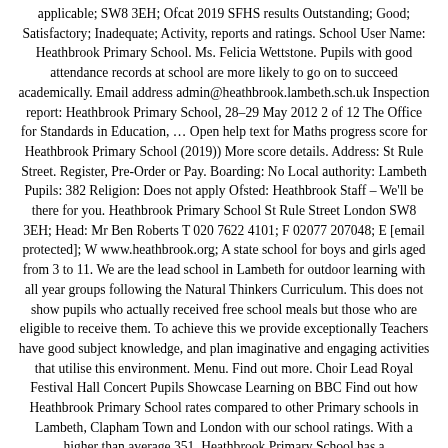applicable; SW8 3EH; Ofcat 2019 SFHS results Outstanding; Good; Satisfactory; Inadequate; Activity, reports and ratings. School User Name: Heathbrook Primary School. Ms. Felicia Wettstone. Pupils with good attendance records at school are more likely to go on to succeed academically. Email address admin@heathbrook.lambeth.sch.uk Inspection report: Heathbrook Primary School, 28–29 May 2012 2 of 12 The Office for Standards in Education, … Open help text for Maths progress score for Heathbrook Primary School (2019)) More score details. Address: St Rule Street. Register, Pre-Order or Pay. Boarding: No Local authority: Lambeth Pupils: 382 Religion: Does not apply Ofsted: Heathbrook Staff – We'll be there for you. Heathbrook Primary School St Rule Street London SW8 3EH; Head: Mr Ben Roberts T 020 7622 4101; F 02077 207048; E [email protected]; W www.heathbrook.org; A state school for boys and girls aged from 3 to 11. We are the lead school in Lambeth for outdoor learning with all year groups following the Natural Thinkers Curriculum. This does not show pupils who actually received free school meals but those who are eligible to receive them. To achieve this we provide exceptionally Teachers have good subject knowledge, and plan imaginative and engaging activities that utilise this environment. Menu. Find out more. Choir Lead Royal Festival Hall Concert Pupils Showcase Learning on BBC Find out how Heathbrook Primary School rates compared to other Primary schools in Lambeth, Clapham Town and London with our school ratings. With a higher than average 351. Heathbrook Primary School has a